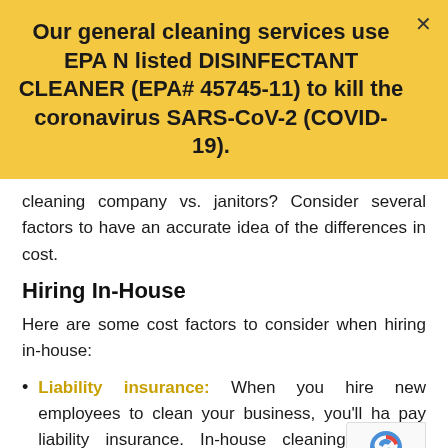Our general cleaning services use EPA N listed DISINFECTANT CLEANER (EPA# 45745-11) to kill the coronavirus SARS-CoV-2 (COVID-19).
cleaning company vs. janitors? Consider several factors to have an accurate idea of the differences in cost.
Hiring In-House
Here are some cost factors to consider when hiring in-house:
Liability insurance: When you hire new employees to clean your business, you'll ha pay liability insurance. In-house cleaning increase certain risks for your employees.